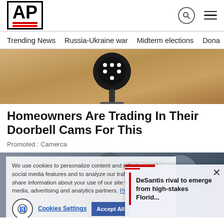AP
Trending News
Russia-Ukraine war
Midterm elections
Dona
[Figure (photo): Close-up of a doorbell camera mounted on a wall]
Homeowners Are Trading In Their Doorbell Cams For This
Promoted : Camerca
[Figure (photo): Person outdoors with earphones, partially obscured by cookie consent overlay and video overlay]
We use cookies to personalize content and ads, to provide social media features and to analyze our traffic. We also share information about your use of our site with our social media, advertising and analytics partners. Privacy Policy
Cookies Settings   Accept All
DeSantis rival to emerge from high-stakes Florid...